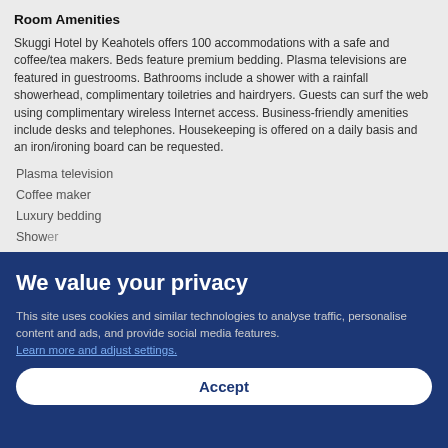Room Amenities
Skuggi Hotel by Keahotels offers 100 accommodations with a safe and coffee/tea makers. Beds feature premium bedding. Plasma televisions are featured in guestrooms. Bathrooms include a shower with a rainfall showerhead, complimentary toiletries and hairdryers. Guests can surf the web using complimentary wireless Internet access. Business-friendly amenities include desks and telephones. Housekeeping is offered on a daily basis and an iron/ironing board can be requested.
Plasma television
Coffee maker
Luxury bedding
Shower
We value your privacy
This site uses cookies and similar technologies to analyse traffic, personalise content and ads, and provide social media features. Learn more and adjust settings.
Accept